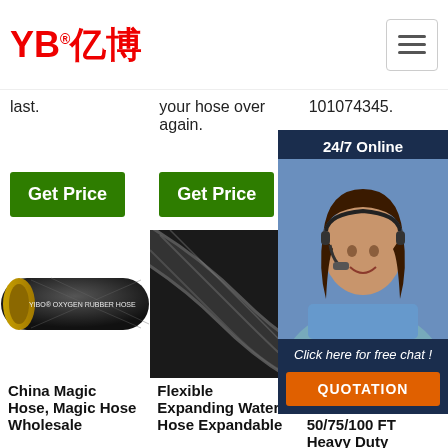YB亿博® [hamburger menu]
last.
your hose over again.
101074345.
Get Price
Get Price
G[et Price]
[Figure (photo): YIBO oxygen rubber hose product photo]
[Figure (photo): Flexible expanding water hose close-up product photo]
[Figure (photo): Expandable garden hose product photo (partially obscured by chat widget)]
[Figure (photo): Chat widget with customer service agent photo, 24/7 Online banner, Click here for free chat, QUOTATION button]
China Magic Hose, Magic Hose Wholesale
Flexible Expanding Water Hose Expandable
Expandable Garden Hose 50/75/100 FT Heavy Duty